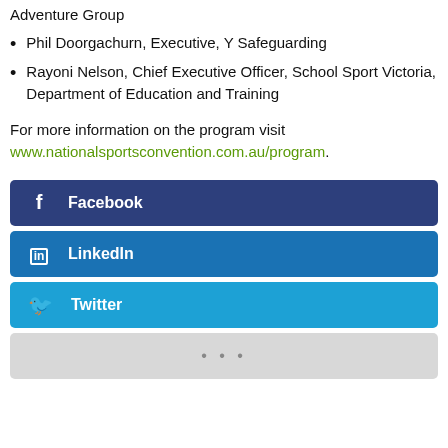Adventure Group
Phil Doorgachurn, Executive, Y Safeguarding
Rayoni Nelson, Chief Executive Officer, School Sport Victoria, Department of Education and Training
For more information on the program visit www.nationalsportsconvention.com.au/program.
[Figure (infographic): Social media share buttons: Facebook, LinkedIn, Twitter, and a more options button (…)]